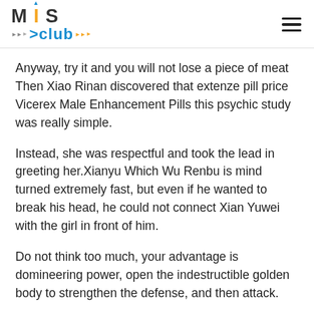MIS Club
Anyway, try it and you will not lose a piece of meat Then Xiao Rinan discovered that extenze pill price Vicerex Male Enhancement Pills this psychic study was really simple.
Instead, she was respectful and took the lead in greeting her.Xianyu Which Wu Renbu is mind turned extremely fast, but even if he wanted to break his head, he could not connect Xian Yuwei with the girl in front of him.
Do not think too much, your advantage is domineering power, open the indestructible golden body to strengthen the defense, and then attack.